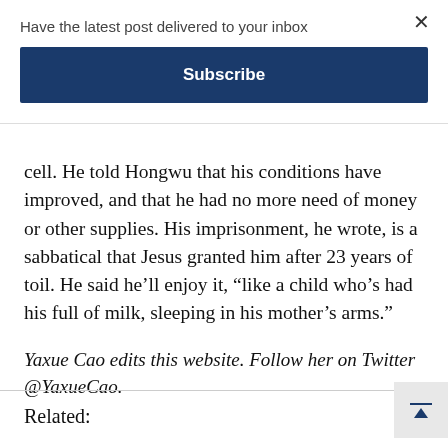Have the latest post delivered to your inbox
Subscribe
cell. He told Hongwu that his conditions have improved, and that he had no more need of money or other supplies. His imprisonment, he wrote, is a sabbatical that Jesus granted him after 23 years of toil. He said he’ll enjoy it, “like a child who’s had his full of milk, sleeping in his mother’s arms.”
Yaxue Cao edits this website. Follow her on Twitter @YaxueCao.
Related: